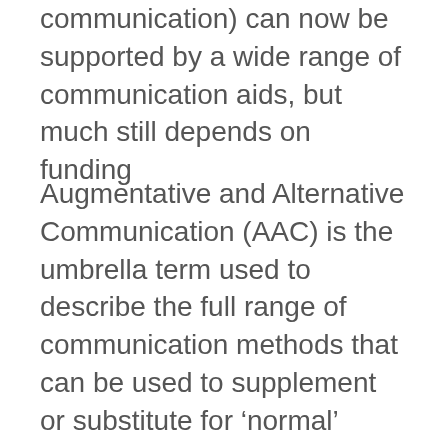communication) can now be supported by a wide range of communication aids, but much still depends on funding
Augmentative and Alternative Communication (AAC) is the umbrella term used to describe the full range of communication methods that can be used to supplement or substitute for ‘normal’ speech or writing when these are impaired or absent. The term encompasses everything from gestures and signing, to aids, which can be low-tech (such as picture